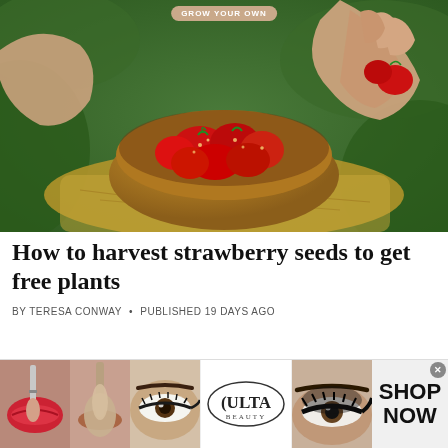GROW YOUR OWN
[Figure (photo): Hands picking red ripe strawberries into a wooden bowl surrounded by strawberry plants and straw]
How to harvest strawberry seeds to get free plants
BY TERESA CONWAY • PUBLISHED 19 DAYS AGO
[Figure (photo): Ulta Beauty advertisement banner showing makeup and eye makeup images with SHOP NOW call to action]